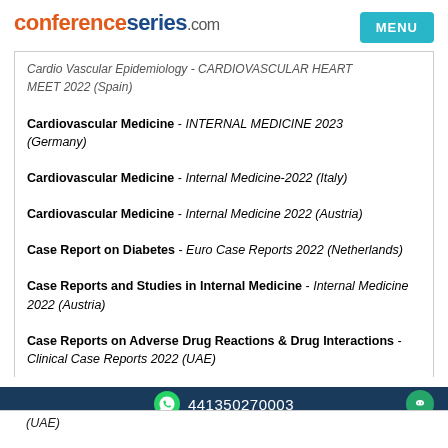conferenceseries.com | MENU
Cardiovascular Epidemiology - CARDIOVASCULAR HEART MEET 2022 (Spain)
Cardiovascular Medicine - INTERNAL MEDICINE 2023 (Germany)
Cardiovascular Medicine - Internal Medicine-2022 (Italy)
Cardiovascular Medicine - Internal Medicine 2022 (Austria)
Case Report on Diabetes - Euro Case Reports 2022 (Netherlands)
Case Reports and Studies in Internal Medicine - Internal Medicine 2022 (Austria)
Case Reports on Adverse Drug Reactions & Drug Interactions - Clinical Case Reports 2022 (UAE)
441350270003
(UAE)